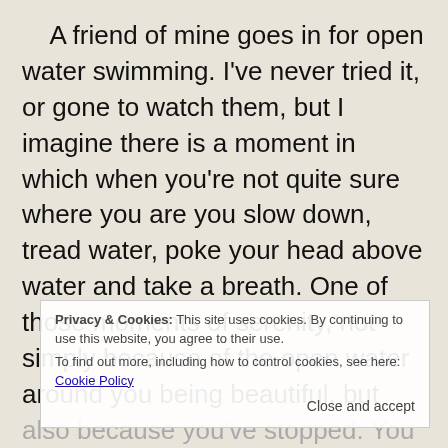A friend of mine goes in for open water swimming. I've never tried it, or gone to watch them, but I imagine there is a moment in which when you're not quite sure where you are you slow down, tread water, poke your head above water and take a breath. One of those moments of serenity, not simply because of the open water around you being beautiful, but also because you've stopped. You can appreciate struggling. You slow down to a comfortable safe pace, and you can breathe easily as you make your plans for the next mad dash into the unknown.
Privacy & Cookies: This site uses cookies. By continuing to use this website, you agree to their use. To find out more, including how to control cookies, see here: Cookie Policy